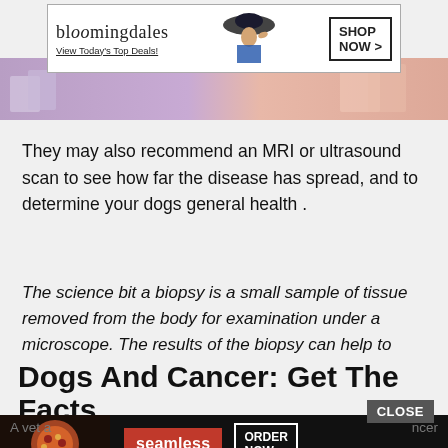[Figure (screenshot): Bloomingdales advertisement banner: 'bloomingdales View Today's Top Deals!' with a woman in a hat and 'SHOP NOW >' button]
[Figure (photo): Advertisement image strip with purple and peach color gradient background, partial model visible]
They may also recommend an MRI or ultrasound scan to see how far the disease has spread, and to determine your dogs general health .
The science bit a biopsy is a small sample of tissue removed from the body for examination under a microscope. The results of the biopsy can help to determine whether a lump is cancerous.
Dogs And Cancer: Get The Facts
[Figure (screenshot): Seamless food delivery advertisement: pizza image, 'seamless' red button, 'ORDER NOW' bordered button, with CLOSE button overlay]
A vet a ... ncer